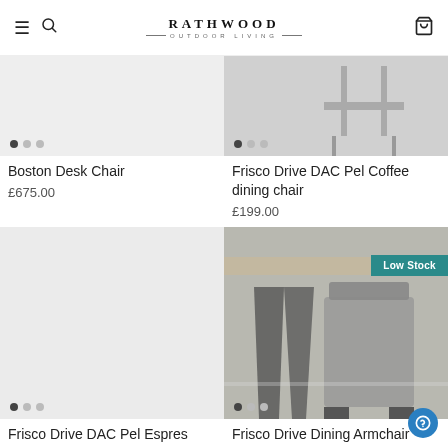RATHWOOD OUTDOOR LIVING
Boston Desk Chair
£675.00
Frisco Drive DAC Pel Coffee dining chair
£199.00
[Figure (photo): Gray placeholder product image for Frisco Drive DAC Pel Espres with dot indicators]
[Figure (photo): Photo of dining chairs around a table with Low Stock badge]
Frisco Drive DAC Pel Espres
Frisco Drive Dining Armchair